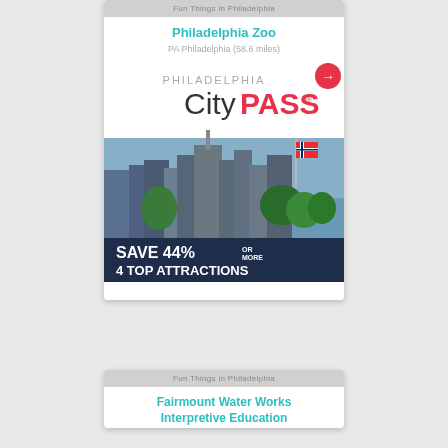Fun Things in Philadelphia
Philadelphia Zoo
PA Philadelphia (58.6 miles)
[Figure (illustration): Philadelphia CityPASS advertisement showing city skyline with flags and text: PHILADELPHIA CityPASS SAVE 44% OR MORE 4 TOP ATTRACTIONS]
Fun Things in Philadelphia
Fairmount Water Works Interpretive Education Center